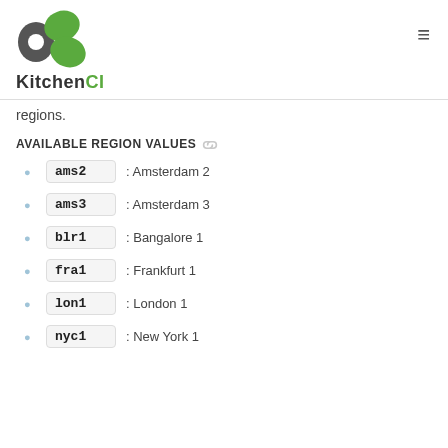KitchenCI
regions.
AVAILABLE REGION VALUES
ams2 : Amsterdam 2
ams3 : Amsterdam 3
blr1 : Bangalore 1
fra1 : Frankfurt 1
lon1 : London 1
nyc1 : New York 1